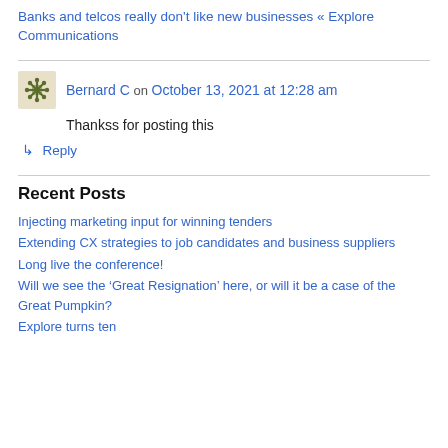Pingback: Banks and telcos really don't like new businesses « Explore Communications
Bernard C on October 13, 2021 at 12:28 am
Thankss for posting this
↳ Reply
Recent Posts
Injecting marketing input for winning tenders
Extending CX strategies to job candidates and business suppliers
Long live the conference!
Will we see the 'Great Resignation' here, or will it be a case of the Great Pumpkin?
Explore turns ten